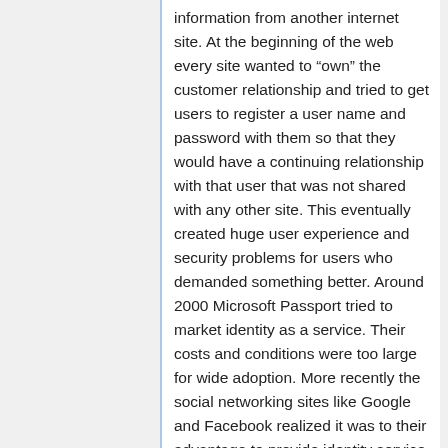information from another internet site. At the beginning of the web every site wanted to "own" the customer relationship and tried to get users to register a user name and password with them so that they would have a continuing relationship with that user that was not shared with any other site. This eventually created huge user experience and security problems for users who demanded something better. Around 2000 Microsoft Passport tried to market identity as a service. Their costs and conditions were too large for wide adoption. More recently the social networking sites like Google and Facebook realized it was to their advantage to provide identity service to others making them the one site that most users always visited. With the